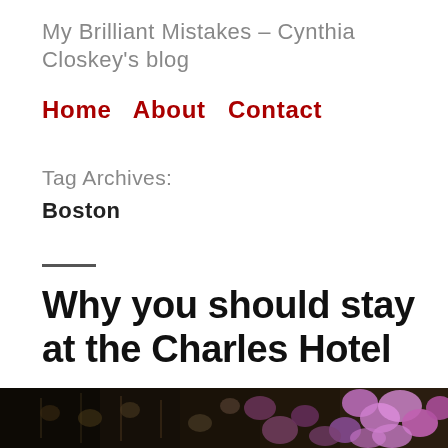My Brilliant Mistakes – Cynthia Closkey's blog
Home   About   Contact
Tag Archives:
Boston
Why you should stay at the Charles Hotel
[Figure (photo): Strip photo of colorful flowers, primarily pink/purple blooms, dark background]